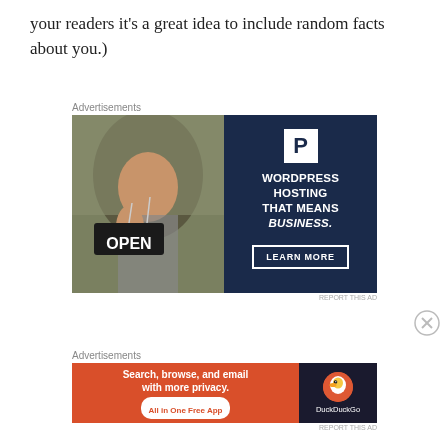your readers it's a great idea to include random facts about you.)
Advertisements
[Figure (screenshot): WordPress Hosting advertisement banner. Left half shows a photo of a smiling woman holding an OPEN sign. Right half is dark navy blue with WordPress 'P' logo, text 'WORDPRESS HOSTING THAT MEANS BUSINESS.' and a 'LEARN MORE' button.]
Advertisements
[Figure (screenshot): DuckDuckGo advertisement banner. Left side is orange with text 'Search, browse, and email with more privacy. All in One Free App'. Right side is dark with DuckDuckGo logo and name.]